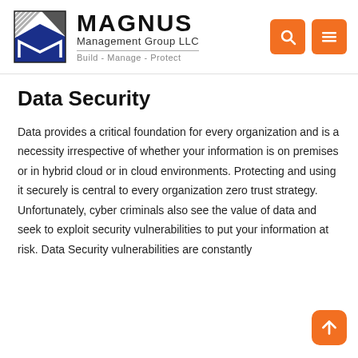[Figure (logo): Magnus Management Group LLC logo with geometric M icon and tagline Build - Manage - Protect]
Data Security
Data provides a critical foundation for every organization and is a necessity irrespective of whether your information is on premises or in hybrid cloud or in cloud environments. Protecting and using it securely is central to every organization zero trust strategy. Unfortunately, cyber criminals also see the value of data and seek to exploit security vulnerabilities to put your information at risk. Data Security vulnerabilities are constantly